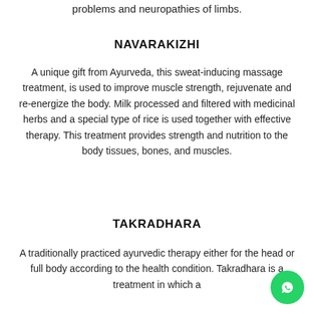problems and neuropathies of limbs.
NAVARAKIZHI
A unique gift from Ayurveda, this sweat-inducing massage treatment, is used to improve muscle strength, rejuvenate and re-energize the body. Milk processed and filtered with medicinal herbs and a special type of rice is used together with effective therapy. This treatment provides strength and nutrition to the body tissues, bones, and muscles.
TAKRADHARA
A traditionally practiced ayurvedic therapy either for the head or full body according to the health condition. Takradhara is a treatment in which a